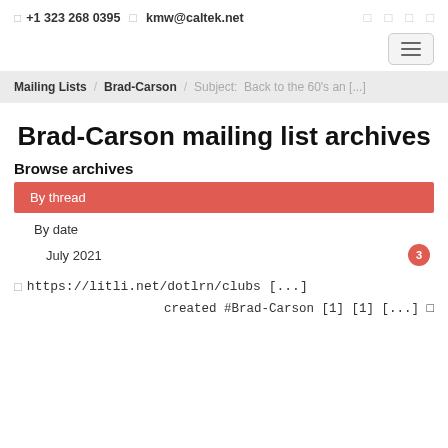□ +1 323 268 0395  □ kmw@caltek.net  □ □ □ □
By thread
Mailing Lists / Brad-Carson / Subject: Back to the 60's an [...]
Brad-Carson mailing list archives
Browse archives
By thread
By date
July 2021  3
□ https://litli.net/dotlrn/clubs [...]
created #Brad-Carson [1] [1] [...] □